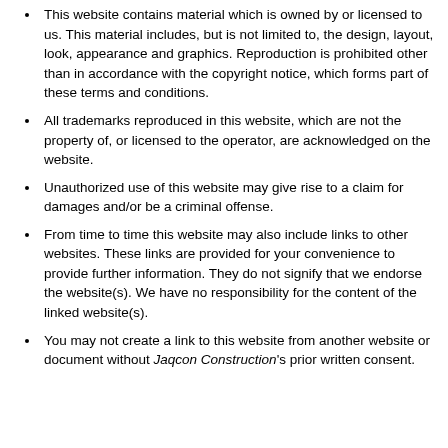products, services or information available through this website meet your specific requirements.
This website contains material which is owned by or licensed to us. This material includes, but is not limited to, the design, layout, look, appearance and graphics. Reproduction is prohibited other than in accordance with the copyright notice, which forms part of these terms and conditions.
All trademarks reproduced in this website, which are not the property of, or licensed to the operator, are acknowledged on the website.
Unauthorized use of this website may give rise to a claim for damages and/or be a criminal offense.
From time to time this website may also include links to other websites. These links are provided for your convenience to provide further information. They do not signify that we endorse the website(s). We have no responsibility for the content of the linked website(s).
You may not create a link to this website from another website or document without Jaqcon Construction's prior written consent.